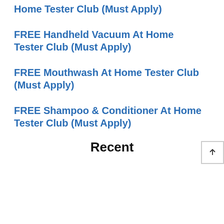Home Tester Club (Must Apply)
FREE Handheld Vacuum At Home Tester Club (Must Apply)
FREE Mouthwash At Home Tester Club (Must Apply)
FREE Shampoo & Conditioner At Home Tester Club (Must Apply)
Recent